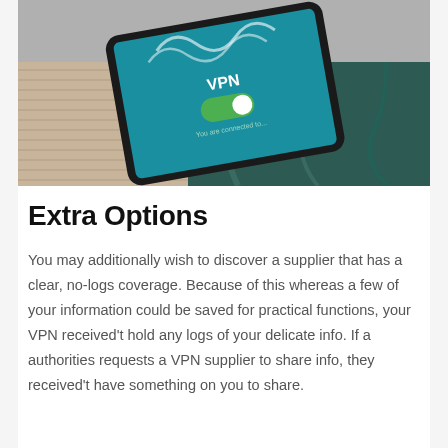[Figure (photo): A tablet lying on a cushion/fabric background showing a VPN toggle screen. The screen displays 'VPN' text in white with a green toggle switch turned on, on a teal/blue background.]
Extra Options
You may additionally wish to discover a supplier that has a clear, no-logs coverage. Because of this whereas a few of your information could be saved for practical functions, your VPN received't hold any logs of your delicate info. If a authorities requests a VPN supplier to share info, they received't have something on you to share.